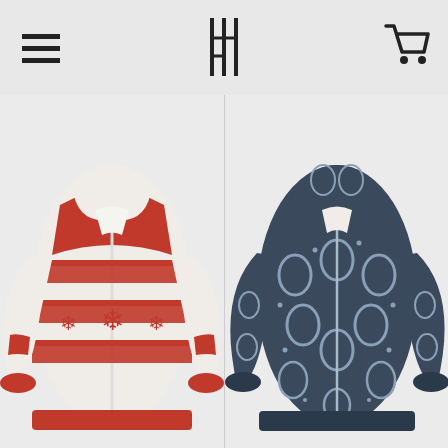[Figure (screenshot): Navigation bar with hamburger menu icon on left, stylized logo in center, shopping cart icon on right]
[Figure (photo): Yule Faux-Wool Hoodie - cream/white and dark red Nordic pattern zip-up hoodie with fleece lining]
Yule Faux-Wool Hoodie  $84
[Figure (photo): Tocharian Faux-Wool Hoodie - dark navy blue hoodie with circular/oval pattern and fleece lining]
Tocharian Faux-Wool Hoodie  $84
SIZE  XS
+ ADD TO CART